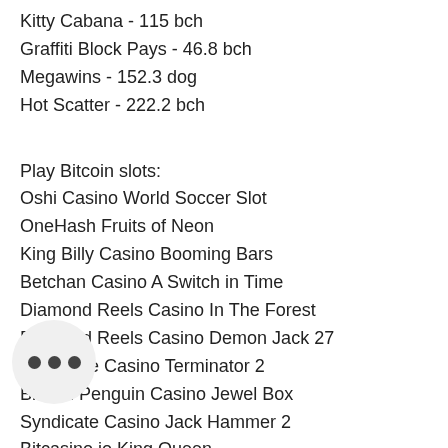Kitty Cabana - 115 bch
Graffiti Block Pays - 46.8 bch
Megawins - 152.3 dog
Hot Scatter - 222.2 bch
Play Bitcoin slots:
Oshi Casino World Soccer Slot
OneHash Fruits of Neon
King Billy Casino Booming Bars
Betchan Casino A Switch in Time
Diamond Reels Casino In The Forest
Diamond Reels Casino Demon Jack 27
Syndicate Casino Terminator 2
Bitcoin Penguin Casino Jewel Box
Syndicate Casino Jack Hammer 2
Bitcasino.io King Queen
Sportsbet.io Pyramid of Gold
V... Crest Casino Supe It Up
...d Reels Casino Egypt Gods
Bitcasino.io Sakura Fortune
Cloudbet Casino King Queen (truncated)